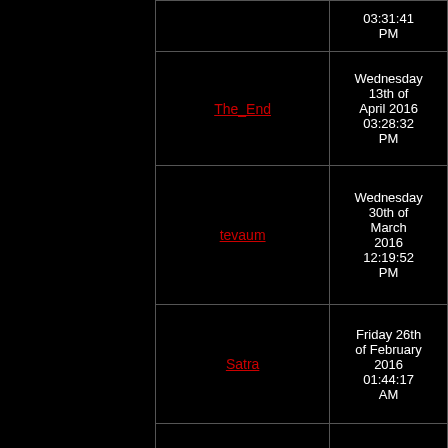| Username | Date |
| --- | --- |
|  | 03:31:41 PM |
| The_End | Wednesday 13th of April 2016 03:28:32 PM |
| tevaum | Wednesday 30th of March 2016 12:19:52 PM |
| Satra | Friday 26th of February 2016 01:44:17 AM |
| Daniel | Wednesday 13th of January 2016 10:10:34 PM |